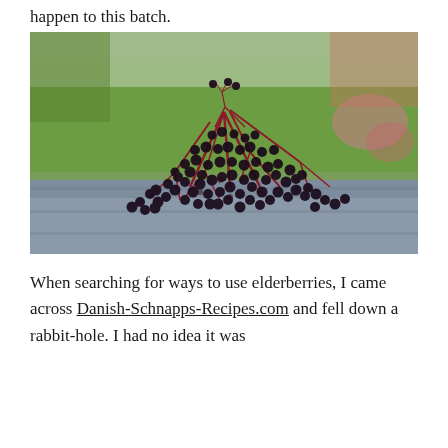happen to this batch.
[Figure (photo): A large pile of fresh dark elderberries with red stems on a grey wooden surface, with a blurred green garden background.]
When searching for ways to use elderberries, I came across Danish-Schnapps-Recipes.com and fell down a rabbit-hole. I had no idea it was